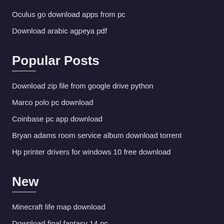Oculus go download apps from pc
Download arabic agpeya pdf
Popular Posts
Download zip file from google drive python
Marco polo pc download
Coinbase pc app download
Bryan adams room service album download torrent
Hp printer drivers for windows 10 free download
New
Minecraft life map download
Download final fantasy 14 pc
Mo2 failed to download file from nexus